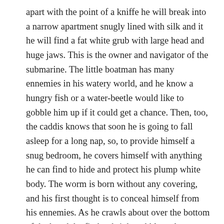apart with the point of a kniffe he will break into a narrow apartment snugly lined with silk and it he will find a fat white grub with large head and huge jaws. This is the owner and navigator of the submarine. The little boatman has many ennemies in his watery world, and he know a hungry fish or a water-beetle would like to gobble him up if it could get a chance. Then, too, the caddis knows that soon he is going to fall asleep for a long nap, so, to provide himself a snug bedroom, he covers himself with anything he can find to hide and protect his plump white body. The worm is born without any covering, and his first thought is to conceal himself from his ennemies. As he crawls about over the bottom of the brook he finds a bright pebble and immediately fastens it on his back with a drop of liquid glue that quickly hardens. Later on hem ay happen upon an empty snail-shell or a bit of bark, and he adds that to the pebble. In a short while his whole body is covered with a weird case of such odds and ends. If an experimenter pulls the worm out of his houseboat, the creature immediately constructs a second covering as quickly